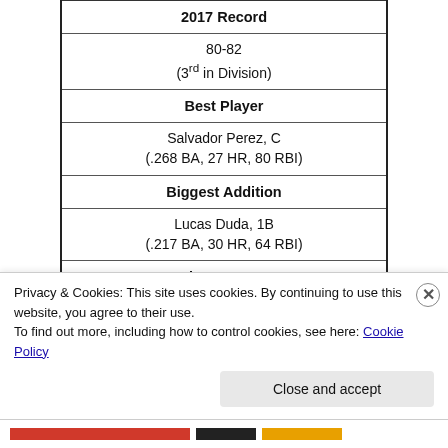| 2017 Record |
| 80-82
(3rd in Division) |
| Best Player |
| Salvador Perez, C
(.268 BA, 27 HR, 80 RBI) |
| Biggest Addition |
| Lucas Duda, 1B
(.217 BA, 30 HR, 64 RBI) |
| Biggest Loss |
| Eric Hosmer, 1B
(.318 BA, 25 HR, 94 RBI) |
| Player to Watch |
| Danny Duffy, RHP |
Privacy & Cookies: This site uses cookies. By continuing to use this website, you agree to their use.
To find out more, including how to control cookies, see here: Cookie Policy